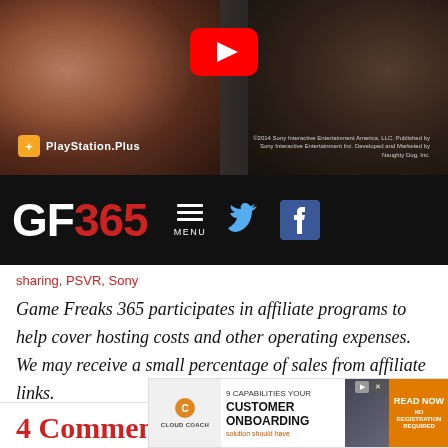[Figure (screenshot): Video thumbnail with YouTube play button overlay showing two characters from a game, with PlayStation Plus logo and copyright text at bottom]
[Figure (screenshot): GF365 website navigation bar with logo, menu icon, Twitter bird icon, and Facebook icon on dark background]
sharing, PSVR, Sony
Game Freaks 365 participates in affiliate programs to help cover hosting costs and other operating expenses. We may receive a small percentage of sales from affiliate links.
4 Comments
[Figure (screenshot): Advertisement banner: Cloud Coach - 9 Capabilities Your Customer Onboarding solution should have. Read Now. No Registration Required.]